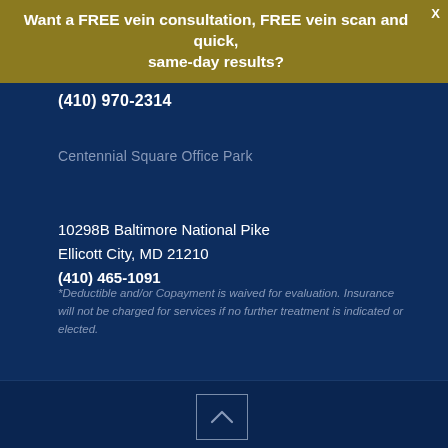Want a FREE vein consultation, FREE vein scan and quick, same-day results?
(410) 970-2314
Centennial Square Office Park
10298B Baltimore National Pike
Ellicott City, MD 21210
(410) 465-1091
*Deductible and/or Copayment is waived for evaluation. Insurance will not be charged for services if no further treatment is indicated or elected.